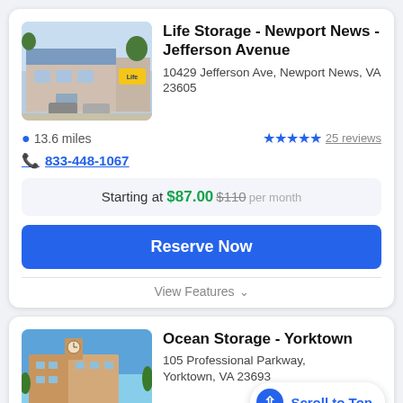Life Storage - Newport News - Jefferson Avenue
10429 Jefferson Ave, Newport News, VA 23605
13.6 miles
★★★★★ 25 reviews
833-448-1067
Starting at $87.00 $110 per month
Reserve Now
View Features
Ocean Storage - Yorktown
105 Professional Parkway, Yorktown, VA 23693
Scroll to Top